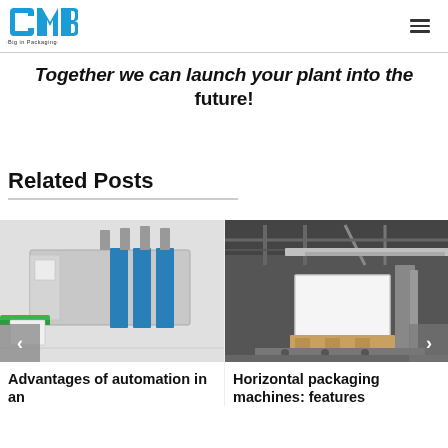CMB · Big in Packaging
Together we can launch your plant into the future!
Related Posts
[Figure (photo): Industrial packaging machine with conveyor belt, blue and white colors]
[Figure (photo): Horizontal packaging machine in a warehouse with a cardboard box on a conveyor]
Advantages of automation in an
Horizontal packaging machines: features